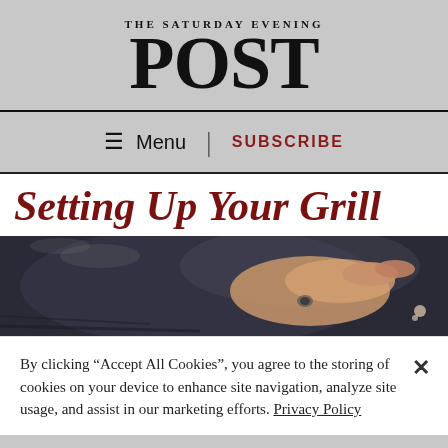THE SATURDAY EVENING POST
Menu | SUBSCRIBE
Setting Up Your Grill
[Figure (photo): Close-up photo of a person's hand on a dark grill surface, with smoke visible in the background]
By clicking “Accept All Cookies”, you agree to the storing of cookies on your device to enhance site navigation, analyze site usage, and assist in our marketing efforts. Privacy Policy